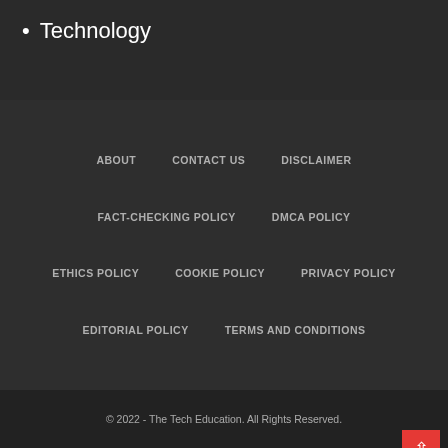Technology
ABOUT   CONTACT US   DISCLAIMER
FACT-CHECKING POLICY   DMCA POLICY
ETHICS POLICY   COOKIE POLICY   PRIVACY POLICY
EDITORIAL POLICY   TERMS AND CONDITIONS
© 2022 - The Tech Education. All Rights Reserved.